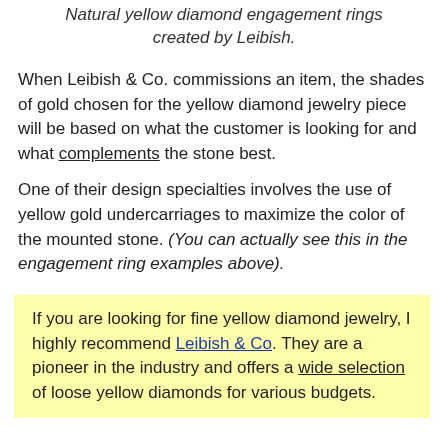Natural yellow diamond engagement rings created by Leibish.
When Leibish & Co. commissions an item, the shades of gold chosen for the yellow diamond jewelry piece will be based on what the customer is looking for and what complements the stone best.
One of their design specialties involves the use of yellow gold undercarriages to maximize the color of the mounted stone. (You can actually see this in the engagement ring examples above).
If you are looking for fine yellow diamond jewelry, I highly recommend Leibish & Co. They are a pioneer in the industry and offers a wide selection of loose yellow diamonds for various budgets.